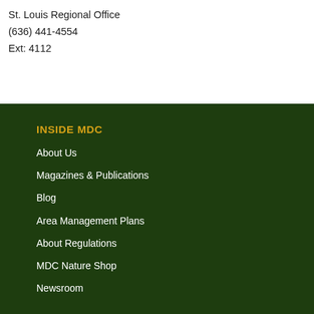St. Louis Regional Office
(636) 441-4554
Ext: 4112
INSIDE MDC
About Us
Magazines & Publications
Blog
Area Management Plans
About Regulations
MDC Nature Shop
Newsroom